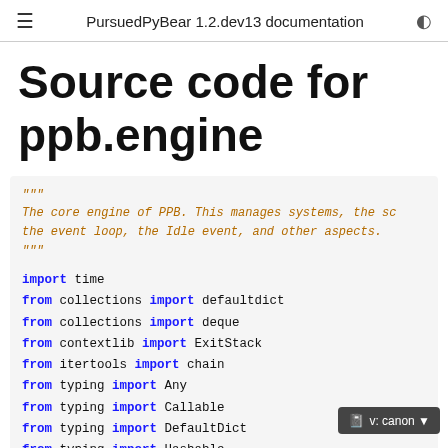≡   PursuedPyBear 1.2.dev13 documentation   ◑
Source code for ppb.engine
[Figure (screenshot): Code block showing Python source for ppb.engine module with docstring and import statements]
v: canon ▾